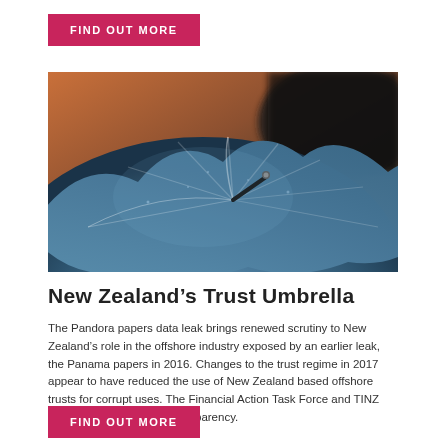FIND OUT MORE
[Figure (photo): Close-up photograph of a blue wet umbrella from above, showing the spokes and tip of the umbrella handle against a blurred background]
New Zealand's Trust Umbrella
The Pandora papers data leak brings renewed scrutiny to New Zealand's role in the offshore industry exposed by an earlier leak, the Panama papers in 2016. Changes to the trust regime in 2017 appear to have reduced the use of New Zealand based offshore trusts for corrupt uses. The Financial Action Task Force and TINZ are calling for still more transparency.
FIND OUT MORE